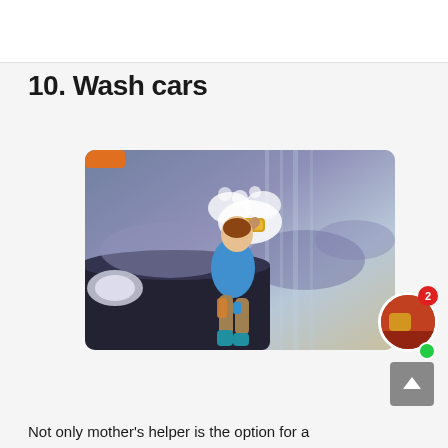10. Wash cars
[Figure (illustration): Illustrated/cartoon character of a teen washing a car with a sponge, with foam/bubbles visible. Background shows blurred real cars being washed.]
Not only mother's helper is the option for a